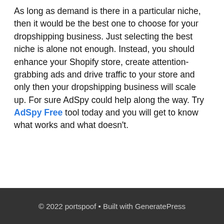As long as demand is there in a particular niche, then it would be the best one to choose for your dropshipping business. Just selecting the best niche is alone not enough. Instead, you should enhance your Shopify store, create attention-grabbing ads and drive traffic to your store and only then your dropshipping business will scale up. For sure AdSpy could help along the way. Try AdSpy Free tool today and you will get to know what works and what doesn't.
© 2022 portspoof • Built with GeneratePress